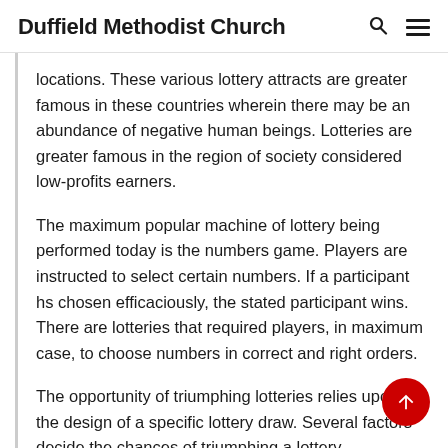Duffield Methodist Church
locations. These various lottery attracts are greater famous in these countries wherein there may be an abundance of negative human beings. Lotteries are greater famous in the region of society considered low-profits earners.
The maximum popular machine of lottery being performed today is the numbers game. Players are instructed to select certain numbers. If a participant hs chosen efficaciously, the stated participant wins. There are lotteries that required players, in maximum case, to choose numbers in correct and right orders.
The opportunity of triumphing lotteries relies upon on the design of a specific lottery draw. Several factors decide the chances of triumphing a lottery